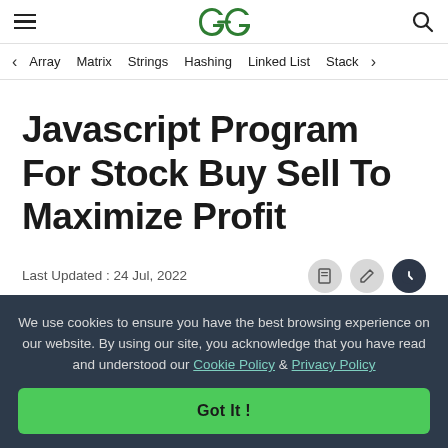GeeksforGeeks — hamburger menu, logo, search icon
< Array  Matrix  Strings  Hashing  Linked List  Stack >
Javascript Program For Stock Buy Sell To Maximize Profit
Last Updated : 24 Jul, 2022
We use cookies to ensure you have the best browsing experience on our website. By using our site, you acknowledge that you have read and understood our Cookie Policy & Privacy Policy
Got It !